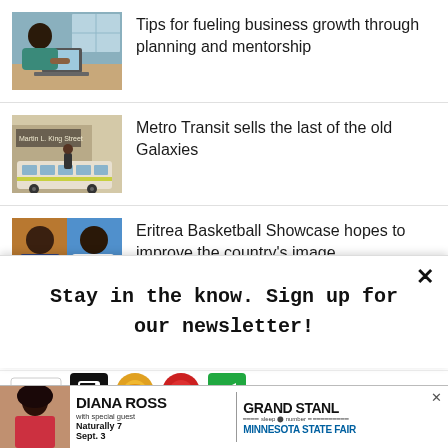[Figure (photo): Woman working at a desk with laptop]
Tips for fueling business growth through planning and mentorship
[Figure (photo): Metro Transit bus in front of a building]
Metro Transit sells the last of the old Galaxies
[Figure (photo): Two men portraits side by side]
Eritrea Basketball Showcase hopes to improve the country's image
Stay in the know. Sign up for our newsletter!
[Figure (infographic): Newsletter signup icons strip with chevron and social media icons]
[Figure (photo): Advertisement: Diana Ross with special guest Naturally 7 Sept. 3 at the Grand Stand Minnesota State Fair]